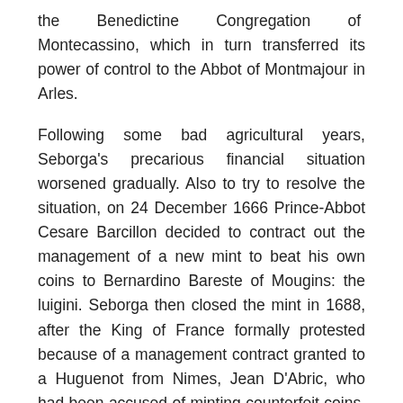the Benedictine Congregation of Montecassino, which in turn transferred its power of control to the Abbot of Montmajour in Arles.
Following some bad agricultural years, Seborga's precarious financial situation worsened gradually. Also to try to resolve the situation, on 24 December 1666 Prince-Abbot Cesare Barcillon decided to contract out the management of a new mint to beat his own coins to Bernardino Bareste of Mougins: the luigini. Seborga then closed the mint in 1688, after the King of France formally protested because of a management contract granted to a Huguenot from Nimes, Jean D'Abric, who had been accused of minting counterfeit coins. The material used for minting the coins was then sold in 1719 by the Podestà of Seborga Giuseppe Antonio Biancheri to the Republic of Genoa, in partial repayment of a previous debt that the monks had contracted with